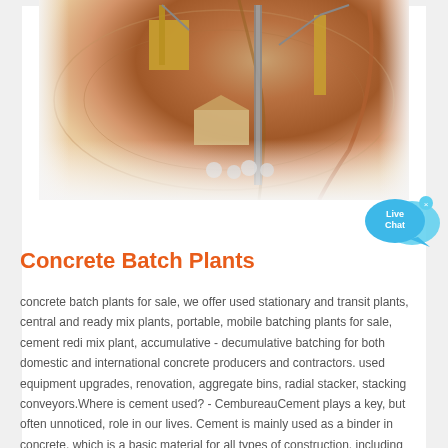[Figure (photo): Aerial view of a concrete batch plant / mining/quarry facility showing conveyor belts, machinery, and earthworks in reddish-brown terrain]
[Figure (infographic): Live Chat button — blue speech bubble with 'Live Chat' text and an × close button]
Concrete Batch Plants
concrete batch plants for sale, we offer used stationary and transit plants, central and ready mix plants, portable, mobile batching plants for sale, cement redi mix plant, accumulative - decumulative batching for both domestic and international concrete producers and contractors. used equipment upgrades, renovation, aggregate bins, radial stacker, stacking conveyors.Where is cement used? - CembureauCement plays a key, but often unnoticed, role in our lives. Cement is mainly used as a binder in concrete, which is a basic material for all types of construction, including housing, roads,